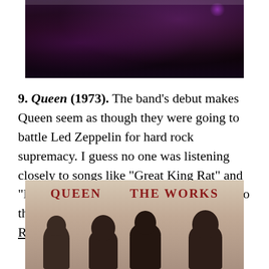[Figure (photo): Dark concert/stage photo with purple lighting against a black background, cropped at top of page]
9. Queen (1973). The band’s debut makes Queen seem as though they were going to battle Led Zeppelin for hard rock supremacy. I guess no one was listening closely to songs like “Great King Rat” and “My Fairy King,” which were early clues to the camp that lay within the band. My Rating: 7.5/10.
[Figure (photo): Album cover for Queen - The Works, showing the band name in red text at the top and silhouettes of four band members below on a sepia/grey background]